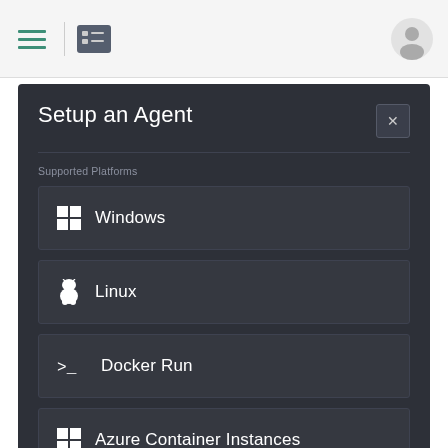[Figure (screenshot): Navigation toolbar with hamburger menu icon and list/table icon, followed by a user profile circle icon on the right.]
Setup an Agent
Supported Platforms
Windows
Linux
Docker Run
Azure Container Instances